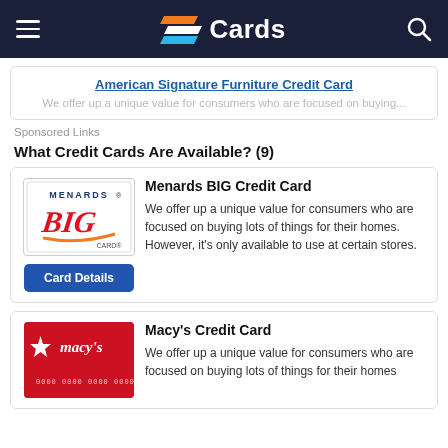Cards
American Signature Furniture Credit Card
We offer up a unique value for consumers who are focused on buying...
Sponsored Links
What Credit Cards Are Available? (9)
[Figure (illustration): Menards BIG Card logo image]
Menards BIG Credit Card
We offer up a unique value for consumers who are focused on buying lots of things for their homes. However, it's only available to use at certain stores.
[Figure (illustration): Macy's Credit Card image — red card with star and macy's logo]
Macy's Credit Card
We offer up a unique value for consumers who are focused on buying lots of things for their homes